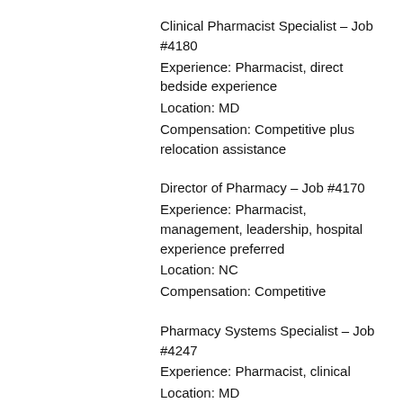Clinical Pharmacist Specialist – Job #4180
Experience: Pharmacist, direct bedside experience
Location: MD
Compensation: Competitive plus relocation assistance
Director of Pharmacy – Job #4170
Experience: Pharmacist, management, leadership, hospital experience preferred
Location: NC
Compensation: Competitive
Pharmacy Systems Specialist – Job #4247
Experience: Pharmacist, clinical
Location: MD